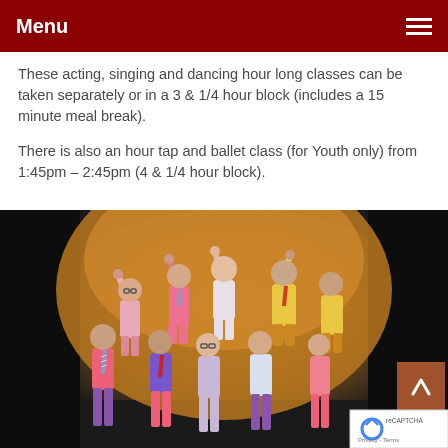Menu
These acting, singing and dancing hour long classes can be taken separately or in a 3 & 1/4 hour block (includes a 15 minute meal break).
There is also an hour tap and ballet class (for Youth only) from 1:45pm – 2:45pm (4 & 1/4 hour block).
[Figure (photo): Group of youth performers on stage in colorful costumes (pink, purple, yellow shirts with striped ties), raising fists in the air under warm stage lighting.]